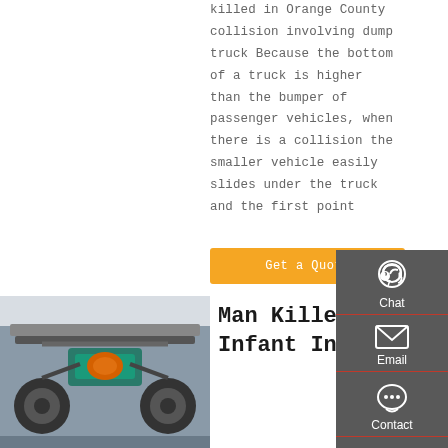killed in Orange County collision involving dump truck Because the bottom of a truck is higher than the bumper of passenger vehicles, when there is a collision the smaller vehicle easily slides under the truck and the first point
[Figure (other): Sidebar widget with dark grey background containing Chat (headset icon), Email (envelope icon), Contact (speech bubble icon), and Top (up arrow icon) buttons with red dividers]
[Figure (other): Orange 'Get a Quote' call-to-action button]
[Figure (photo): Photo of the undercarriage of a dump truck or large vehicle, showing mechanical components, teal/green colored engine or frame parts, viewed from below]
Man Killed, Infant Injured